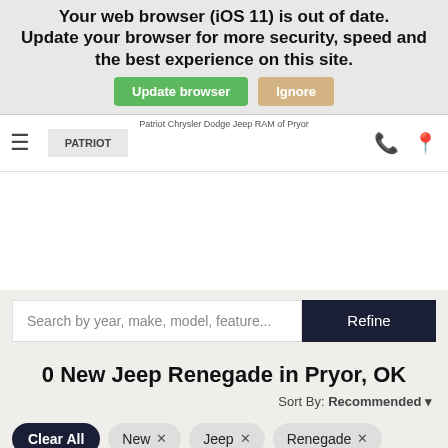Your web browser (iOS 11) is out of date. Update your browser for more security, speed and the best experience on this site. Update browser | Ignore
Patriot Chrysler Dodge Jeep RAM of Pryor
0 New Jeep Renegade in Pryor, OK
Sort By: Recommended
Clear All
New ×
Jeep ×
Renegade ×
Don't worry, we can put you in that perfect vehicle!